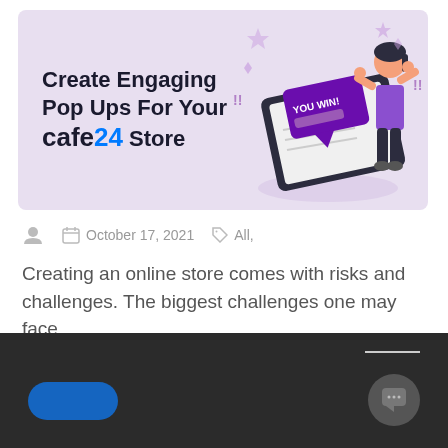[Figure (illustration): Hero banner with light purple background showing text 'Create Engaging Pop Ups For Your CAFE24 Store' on the left and an illustration of a tablet/phone with a popup saying 'YOU WIN!' and a person on the right]
October 17, 2021  All,
Creating an online store comes with risks and challenges. The biggest challenges one may face